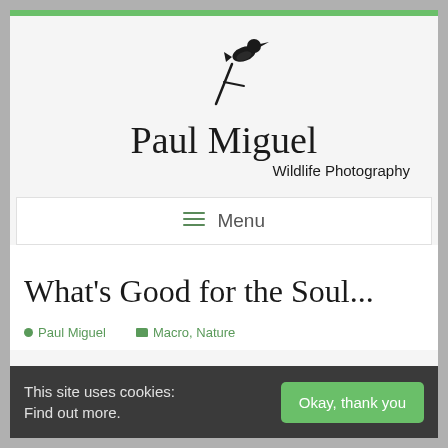[Figure (logo): Paul Miguel Wildlife Photography logo with bird silhouette on branch, large serif text 'Paul Miguel' and smaller sans-serif 'Wildlife Photography']
≡ Menu
What's Good for the Soul...
Paul Miguel    Macro, Nature
This site uses cookies: Find out more.